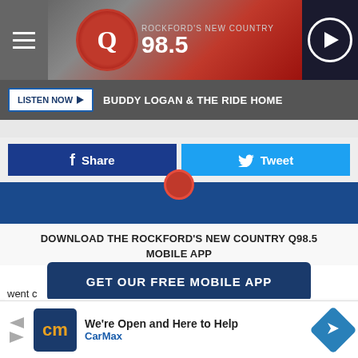[Figure (screenshot): Q98.5 radio station header with hamburger menu, logo, and play button]
LISTEN NOW ▶  BUDDY LOGAN & THE RIDE HOME
Share
Tweet
DOWNLOAD THE ROCKFORD'S NEW COUNTRY Q98.5 MOBILE APP
GET OUR FREE MOBILE APP
Also listen on:  amazon alexa
[Figure (screenshot): CarMax advertisement: We're Open and Here to Help]
went c...